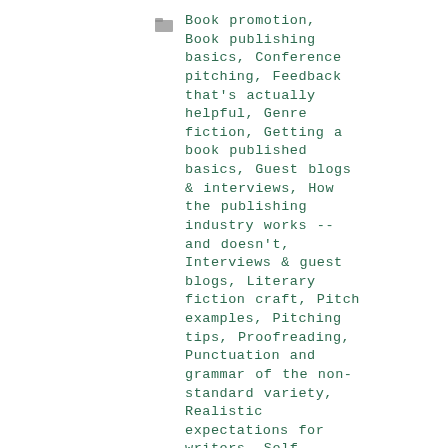Book promotion, Book publishing basics, Conference pitching, Feedback that's actually helpful, Genre fiction, Getting a book published basics, Guest blogs & interviews, How the publishing industry works -- and doesn't, Interviews & guest blogs, Literary fiction craft, Pitch examples, Pitching tips, Proofreading, Punctuation and grammar of the non-standard variety, Realistic expectations for writers, Self-